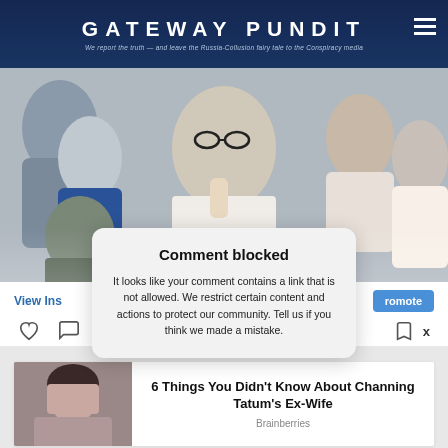GATEWAY PUNDIT — We report the truth — and leave the Russia-Collusion fairy tale to the Conspiracy media
[Figure (photo): Collage of people with various expressions around a central man in glasses making a 'shh' gesture. Overlaid with an Instagram-style interface showing 'View Ins...' and 'romote' buttons and heart/comment icons.]
Comment blocked
It looks like your comment contains a link that is not allowed. We restrict certain content and actions to protect our community. Tell us if you think we made a mistake.
Advertisement
[Figure (photo): Ad image of a woman with dark hair]
6 Things You Didn't Know About Channing Tatum's Ex-Wife
Brainberries